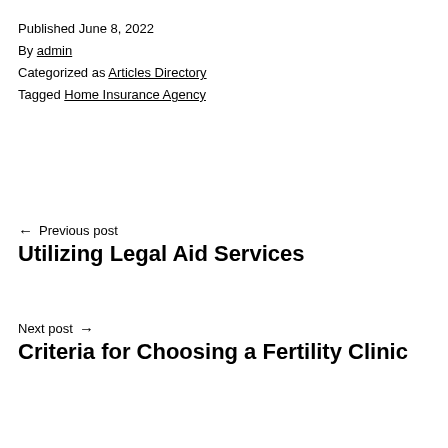Published June 8, 2022
By admin
Categorized as Articles Directory
Tagged Home Insurance Agency
← Previous post
Utilizing Legal Aid Services
Next post →
Criteria for Choosing a Fertility Clinic